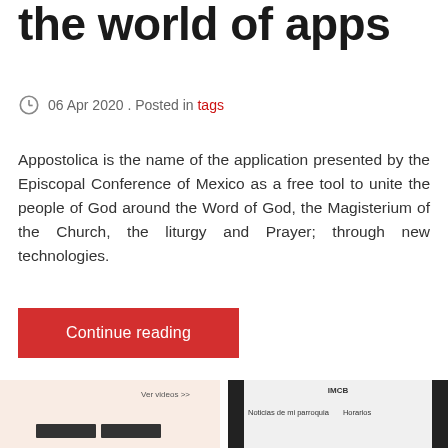the world of apps
06 Apr 2020 . Posted in tags
Appostolica is the name of the application presented by the Episcopal Conference of Mexico as a free tool to unite the people of God around the Word of God, the Magisterium of the Church, the liturgy and Prayer; through new technologies.
Continue reading
[Figure (screenshot): Two partial screenshots of mobile app interfaces side by side at the bottom of the page. Left screenshot shows a peach/salmon colored background with text 'Ver videos >>' and two dark buttons. Right screenshot shows a dark sidebar with text 'IMCB' and navigation items 'Noticias de mi parroquia' and 'Horarios'.]